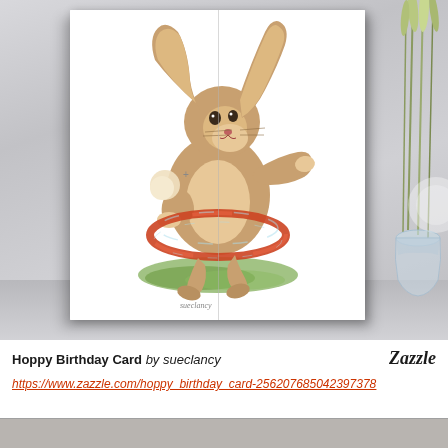[Figure (illustration): Product photo of a greeting card displayed upright on a marble surface. The card shows a watercolor illustration of a chubby brown bunny rabbit hula-hooping with a red/orange hoop on a green grass patch. The bunny has long floppy ears and a white fluffy tail area. Background includes a glass vase with green wheat stalks on the right side. The setting has a light grey marble surface.]
Hoppy Birthday Card by sueclancy   Zazzle
https://www.zazzle.com/hoppy_birthday_card-256207685042397378